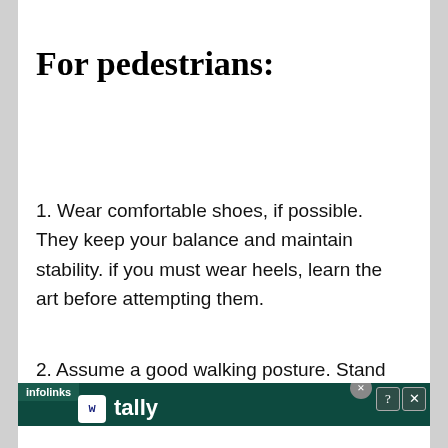For pedestrians:
1. Wear comfortable shoes, if possible. They keep your balance and maintain stability. if you must wear heels, learn the art before attempting them.
2. Assume a good walking posture. Stand straight,
[Figure (screenshot): Infolinks advertisement banner for Tally - Fast credit card payoff with a Download Now button]